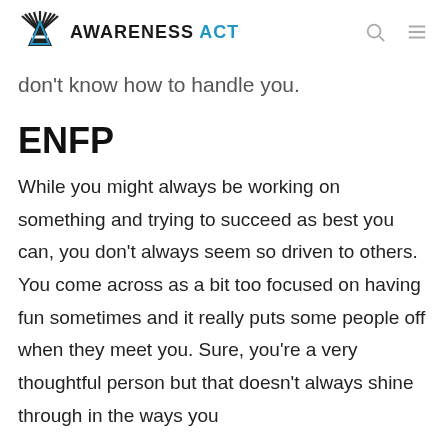AWARENESS ACT
don't know how to handle you.
ENFP
While you might always be working on something and trying to succeed as best you can, you don't always seem so driven to others. You come across as a bit too focused on having fun sometimes and it really puts some people off when they meet you. Sure, you're a very thoughtful person but that doesn't always shine through in the ways you